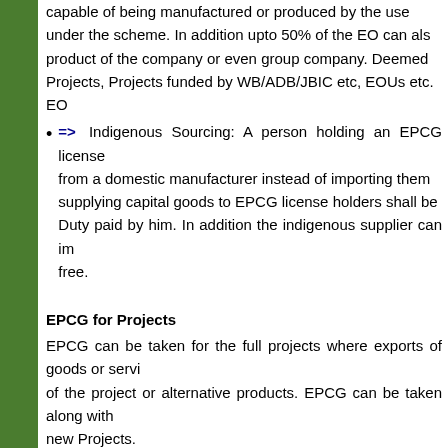capable of being manufactured or produced by the use under the scheme. In addition upto 50% of the EO can als product of the company or even group company. Deemed Projects, Projects funded by WB/ADB/JBIC etc, EOUs etc. EO
=> Indigenous Sourcing: A person holding an EPCG license from a domestic manufacturer instead of importing them supplying capital goods to EPCG license holders shall be Duty paid by him. In addition the indigenous supplier can im free.
EPCG for Projects
EPCG can be taken for the full projects where exports of goods or servi of the project or alternative products. EPCG can be taken along with new Projects.
EPCG for  Service Provider
Various service providers/exporters like Hotels, Hospitals, Tour Operat Companies, Logistics companies can get the benefit of the scheme